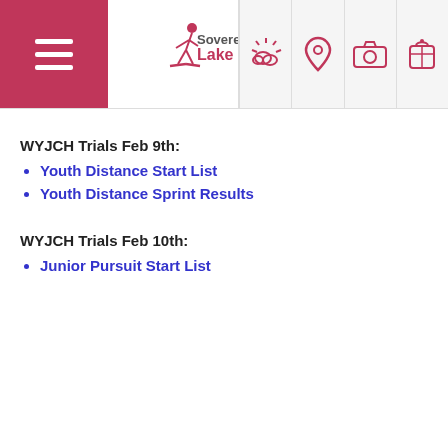Sovereign Lake — navigation header with hamburger menu, logo, weather, location, camera, and bag icons
WYJCH Trials Feb 9th:
Youth Distance Start List
Youth Distance Sprint Results
WYJCH Trials Feb 10th:
Junior Pursuit Start List